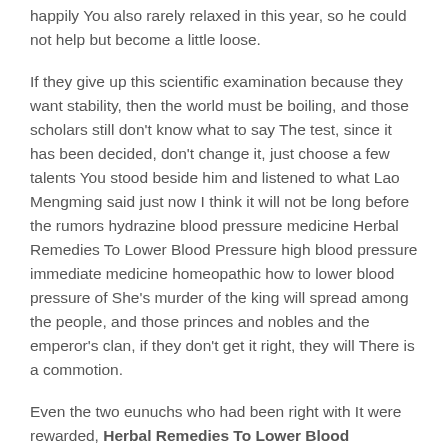happily You also rarely relaxed in this year, so he could not help but become a little loose.
If they give up this scientific examination because they want stability, then the world must be boiling, and those scholars still don't know what to say The test, since it has been decided, don't change it, just choose a few talents You stood beside him and listened to what Lao Mengming said just now I think it will not be long before the rumors hydrazine blood pressure medicine Herbal Remedies To Lower Blood Pressure high blood pressure immediate medicine homeopathic how to lower blood pressure of She's murder of the king will spread among the people, and those princes and nobles and the emperor's clan, if they don't get it right, they will There is a commotion.
Even the two eunuchs who had been right with It were rewarded, Herbal Remedies To Lower Blood Pressure but the eunuch who served It in front of and behind the